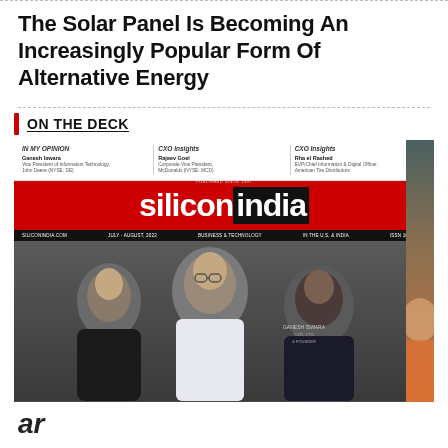The Solar Panel Is Becoming An Increasingly Popular Form Of Alternative Energy
ON THE DECK
[Figure (photo): Silicon India magazine cover showing three men on the cover, with the siliconindia logo in red and black. Top bar shows article headings including IN MY OPINION by Ganesh Iswara, and CXO Insights columns. Bottom shows three professionals posing for the cover photo.]
ar